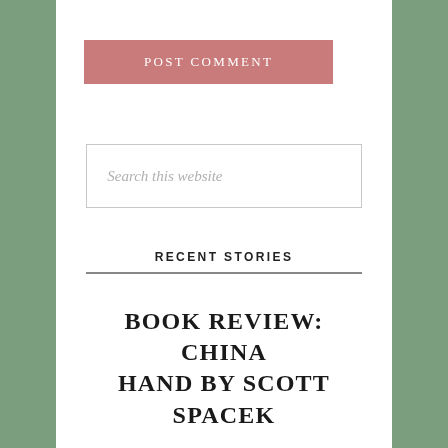POST COMMENT
Search this website
RECENT STORIES
BOOK REVIEW: CHINA HAND BY SCOTT SPACEK
BOOK REVIEW OF ANNE